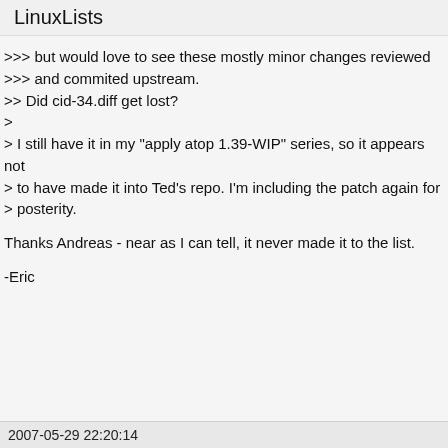LinuxLists
>>> but would love to see these mostly minor changes reviewed
>>> and commited upstream.
>> Did cid-34.diff get lost?
>
> I still have it in my "apply atop 1.39-WIP" series, so it appears not
> to have made it into Ted's repo. I'm including the patch again for
> posterity.

Thanks Andreas - near as I can tell, it never made it to the list.

-Eric
2007-05-29 22:20:14